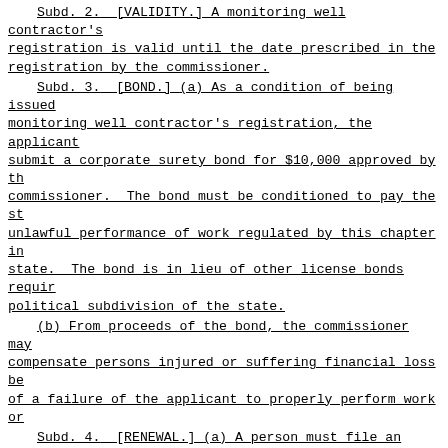Subd. 2. [VALIDITY.] A monitoring well contractor's registration is valid until the date prescribed in the registration by the commissioner.
Subd. 3. [BOND.] (a) As a condition of being issued monitoring well contractor's registration, the applicant submit a corporate surety bond for $10,000 approved by th commissioner. The bond must be conditioned to pay the st unlawful performance of work regulated by this chapter in state. The bond is in lieu of other license bonds requir political subdivision of the state.
(b) From proceeds of the bond, the commissioner may compensate persons injured or suffering financial loss be of a failure of the applicant to properly perform work or
Subd. 4. [RENEWAL.] (a) A person must file an applic and a renewal application fee to renew the registration b date stated in the registration.
(b) The renewal application fee shall be set by the commissioner under section 16A.128.
(c) The renewal application must include information the applicant has met continuing education requirements established by the commissioner by rule.
Subd. 5. [LATE RENEWAL APPLICATION.] If a registered person submits a renewal application after the required r date:
(1) the registered person must include an additional